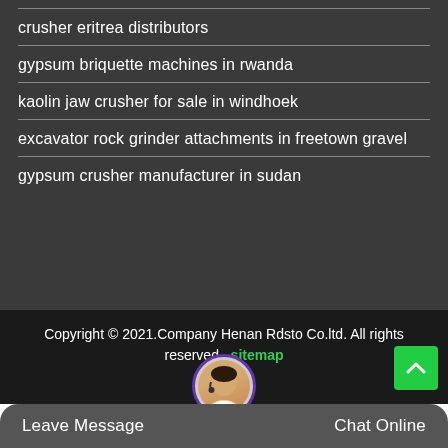crusher eritrea distributors
gypsum briquette machines in rwanda
kaolin jaw crusher for sale in windhoek
excavator rock grinder attachments in freetown gravel
gypsum crusher manufacturer in sudan
Copyright © 2021.Company Henan Rdsto Co.ltd. All rights reserved. sitemap
Leave Message
Chat Online